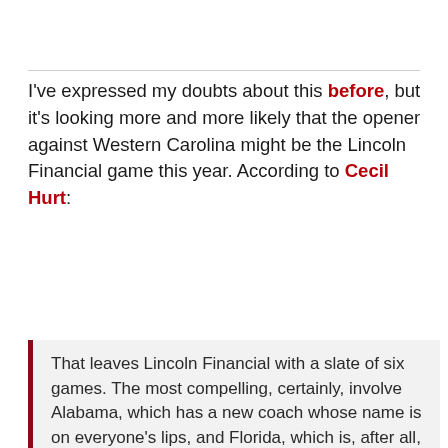I've expressed my doubts about this before, but it's looking more and more likely that the opener against Western Carolina might be the Lincoln Financial game this year. According to Cecil Hurt:
That leaves Lincoln Financial with a slate of six games. The most compelling, certainly, involve Alabama, which has a new coach whose name is on everyone's lips, and Florida, which is, after all, the defending national champion. The Gators are opening with Western Kentucky. While no one at LFS would ever say so (in case they end up with one of these games), it's probably fair to assume that the network's interest in the remaining games -- Troy at Arkansas, Louisiana-LaFayette at South Carolina...